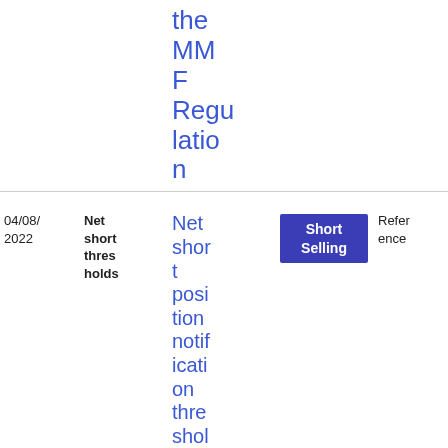| Date | Title (short) | Link text | Tag | Reference | File |
| --- | --- | --- | --- | --- | --- |
|  |  | the MMF Regulation |  |  |  |
| 04/08/2022 | Net short thresholds | Net short position notification thresholds for sovereign | Short Selling | Reference | XLSX 26.41 KB |